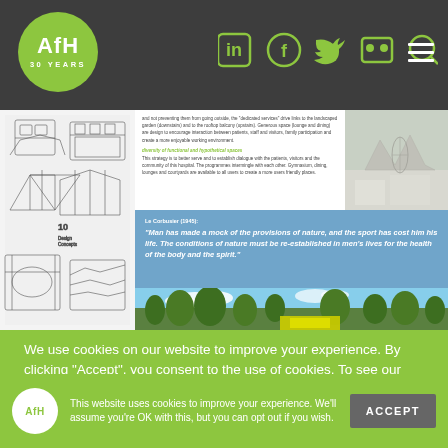AfH 30 YEARS — Navigation header with social icons and hamburger menu
[Figure (screenshot): Architectural document page showing building design sketches on left, text column in center with green subheading 'diversity of functional and social spaces', right column with architectural model photo, and landscape photo with blue sky and trees at bottom; quote overlay from Le Corbusier (1945): 'Man has made a mock of the provisions of nature, and the sport has cost him his life. The conditions of nature must be re-established in men's lives for the health of the body and the spirit.']
We use cookies on our website to improve your experience. By clicking "Accept", you consent to the use of cookies. To see our Cookie & Privacy Policy please READ MORE
This website uses cookies to improve your experience. We'll assume you're OK with this, but you can opt out if you wish.
ACCEPT